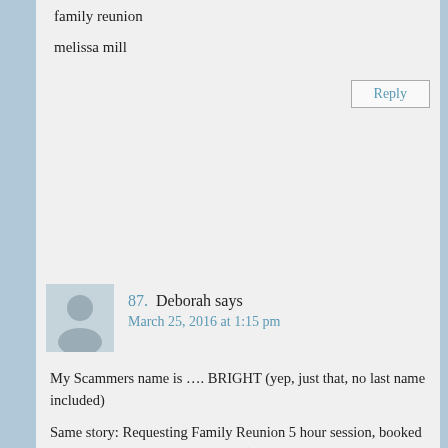family reunion
melissa mill
Reply
87. Deborah says
March 25, 2016 at 1:15 pm
My Scammers name is …. BRIGHT (yep, just that, no last name included)
Same story: Requesting Family Reunion 5 hour session, booked in April based on my availability (1st contact with me on March 23). Who would schedule a Family Reunion like that? Duh, Clue—not real.
I googled photography scammers, to figure out why he would want to pay me–scammers usually want my money, not the other way around. While playing the game with him